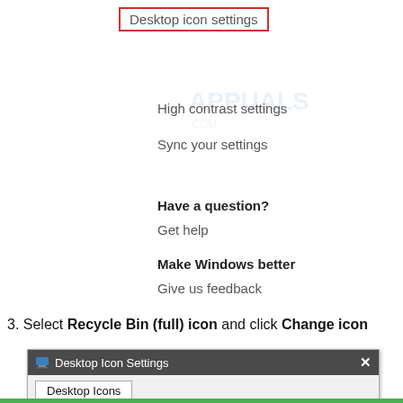[Figure (screenshot): Windows settings menu screenshot showing Desktop icon settings highlighted in a red rectangle, followed by High contrast settings and Sync your settings menu items, with an Appuals watermark overlay]
Have a question?
Get help
Make Windows better
Give us feedback
3. Select Recycle Bin (full) icon and click Change icon
[Figure (screenshot): Desktop Icon Settings dialog box with title bar showing monitor icon and X close button, with Desktop Icons tab visible]